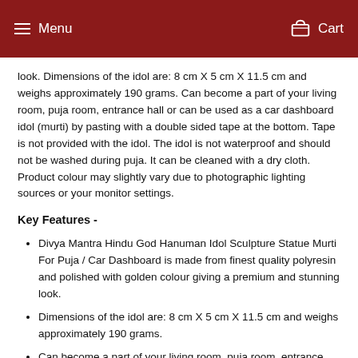Menu  Cart
look. Dimensions of the idol are: 8 cm X 5 cm X 11.5 cm and weighs approximately 190 grams. Can become a part of your living room, puja room, entrance hall or can be used as a car dashboard idol (murti) by pasting with a double sided tape at the bottom. Tape is not provided with the idol. The idol is not waterproof and should not be washed during puja. It can be cleaned with a dry cloth.  Product colour may slightly vary due to photographic lighting sources or your monitor settings.
Key Features -
Divya Mantra Hindu God Hanuman Idol Sculpture Statue Murti For Puja / Car Dashboard is made from finest quality polyresin and polished with golden colour giving a premium and stunning look.
Dimensions of the idol are: 8 cm X 5 cm X 11.5 cm and weighs approximately 190 grams.
Can become a part of your living room, puja room, entrance hall or can be used as a car dashboard idol (murti) by pasting